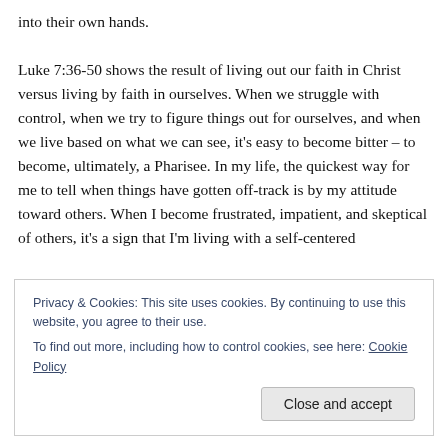into their own hands.

Luke 7:36-50 shows the result of living out our faith in Christ versus living by faith in ourselves. When we struggle with control, when we try to figure things out for ourselves, and when we live based on what we can see, it's easy to become bitter – to become, ultimately, a Pharisee. In my life, the quickest way for me to tell when things have gotten off-track is by my attitude toward others. When I become frustrated, impatient, and skeptical of others, it's a sign that I'm living with a self-centered
Privacy & Cookies: This site uses cookies. By continuing to use this website, you agree to their use.
To find out more, including how to control cookies, see here: Cookie Policy
Close and accept